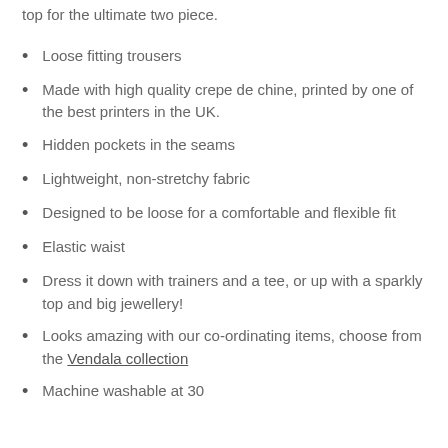top for the ultimate two piece.
Loose fitting trousers
Made with high quality crepe de chine, printed by one of the best printers in the UK.
Hidden pockets in the seams
Lightweight, non-stretchy fabric
Designed to be loose for a comfortable and flexible fit
Elastic waist
Dress it down with trainers and a tee, or up with a sparkly top and big jewellery!
Looks amazing with our co-ordinating items, choose from the Vendala collection
Machine washable at 30